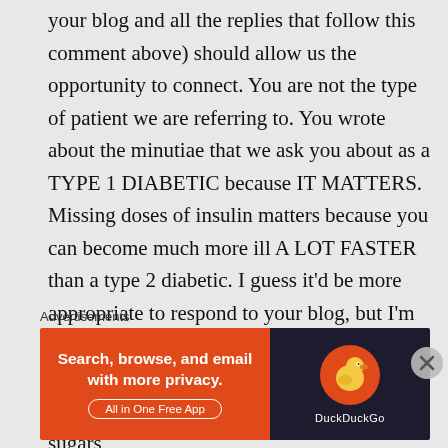your blog and all the replies that follow this comment above) should allow us the opportunity to connect. You are not the type of patient we are referring to. You wrote about the minutiae that we ask you about as a TYPE 1 DIABETIC because IT MATTERS. Missing doses of insulin matters because you can become much more ill A LOT FASTER than a type 2 diabetic. I guess it'd be more appropriate to respond to your blog, but I'm assuming you see an endocrinologist or a very detail oriented physician. I'm sorry that it's annoying to you to know what your sugars
Advertisements
[Figure (other): DuckDuckGo advertisement banner with orange background on left side saying 'Search, browse, and email with more privacy. All in One Free App' and dark background on right with DuckDuckGo logo and duck icon.]